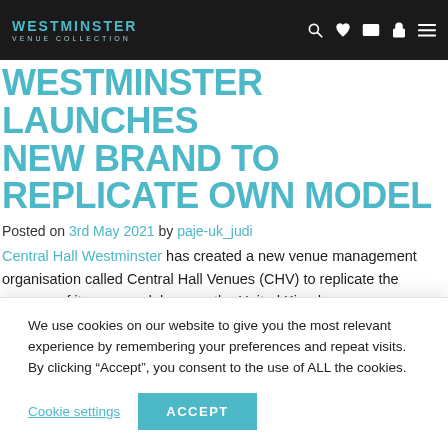WESTMINSTER VENUE COLLECTION
WESTMINSTER LAUNCHES NEW BRAND TO REPLICATE OWN MODEL
Posted on 3rd May 2021 by paje-uk_judi
Central Hall Westminster has created a new venue management organisation called Central Hall Venues (CHV) to replicate the success of its own model across the United Kingdom.
Central Hall Venues (CHV) has been launched to help other similar
We use cookies on our website to give you the most relevant experience by remembering your preferences and repeat visits. By clicking “Accept”, you consent to the use of ALL the cookies.
Cookie settings  ACCEPT